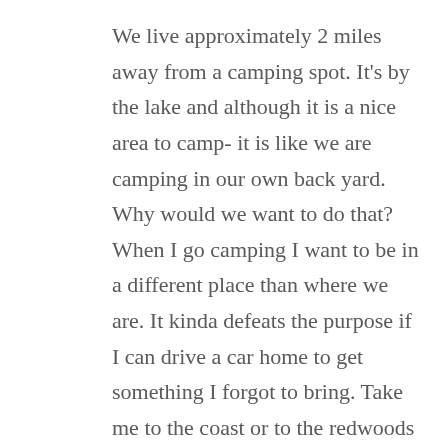We live approximately 2 miles away from a camping spot. It's by the lake and although it is a nice area to camp- it is like we are camping in our own back yard. Why would we want to do that? When I go camping I want to be in a different place than where we are. It kinda defeats the purpose if I can drive a car home to get something I forgot to bring. Take me to the coast or to the redwoods or even to the deep woods around here- but not down the street. Camping is a little more time-consuming and a little more costly due to the night's stay but it can be so much more enjoyable than just a few hours walk.